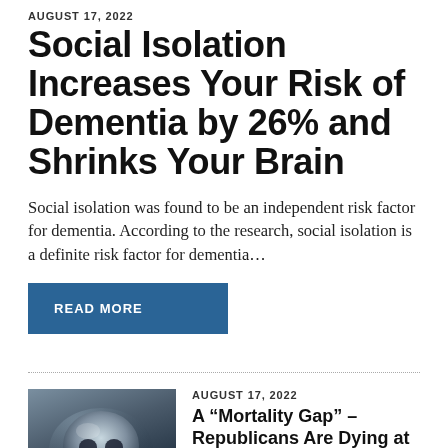AUGUST 17, 2022
Social Isolation Increases Your Risk of Dementia by 26% and Shrinks Your Brain
Social isolation was found to be an independent risk factor for dementia. According to the research, social isolation is a definite risk factor for dementia…
READ MORE
AUGUST 17, 2022
[Figure (photo): Dark dramatic sky with a skull or brain-like spherical object resting on a surface, moody lighting]
A “Mortality Gap” – Republicans Are Dying at a Higher Rate Than Democrats